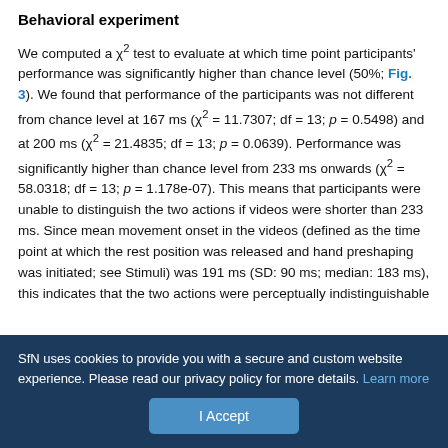Behavioral experiment
We computed a χ² test to evaluate at which time point participants' performance was significantly higher than chance level (50%; Fig. 3). We found that performance of the participants was not different from chance level at 167 ms (χ² = 11.7307; df = 13; p = 0.5498) and at 200 ms (χ² = 21.4835; df = 13; p = 0.0639). Performance was significantly higher than chance level from 233 ms onwards (χ² = 58.0318; df = 13; p = 1.178e-07). This means that participants were unable to distinguish the two actions if videos were shorter than 233 ms. Since mean movement onset in the videos (defined as the time point at which the rest position was released and hand preshaping was initiated; see Stimuli) was 191 ms (SD: 90 ms; median: 183 ms), this indicates that the two actions were perceptually indistinguishable
SfN uses cookies to provide you with a secure and custom website experience. Please read our privacy policy for more details. Learn more
I Accept